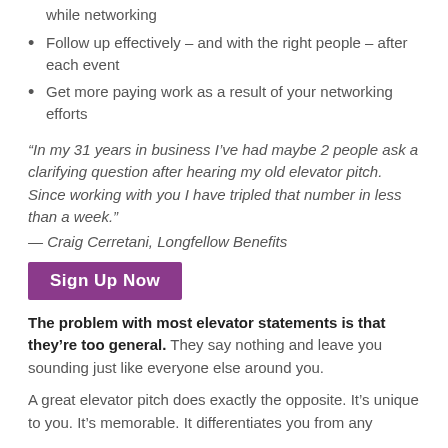while networking
Follow up effectively – and with the right people – after each event
Get more paying work as a result of your networking efforts
“In my 31 years in business I’ve had maybe 2 people ask a clarifying question after hearing my old elevator pitch. Since working with you I have tripled that number in less than a week.”
— Craig Cerretani, Longfellow Benefits
[Figure (other): Purple button labeled 'Sign Up Now']
The problem with most elevator statements is that they’re too general. They say nothing and leave you sounding just like everyone else around you.
A great elevator pitch does exactly the opposite. It’s unique to you. It’s memorable. It differentiates you from any